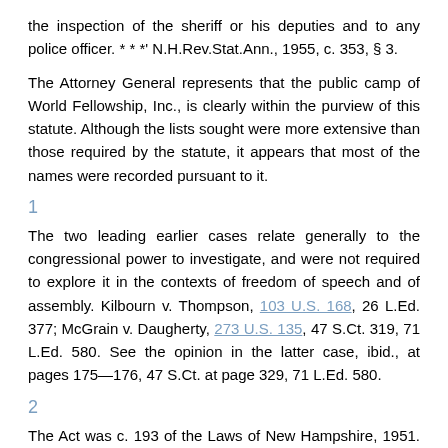the inspection of the sheriff or his deputies and to any police officer. * * *' N.H.Rev.Stat.Ann., 1955, c. 353, § 3.
The Attorney General represents that the public camp of World Fellowship, Inc., is clearly within the purview of this statute. Although the lists sought were more extensive than those required by the statute, it appears that most of the names were recorded pursuant to it.
1
The two leading earlier cases relate generally to the congressional power to investigate, and were not required to explore it in the contexts of freedom of speech and of assembly. Kilbourn v. Thompson, 103 U.S. 168, 26 L.Ed. 377; McGrain v. Daugherty, 273 U.S. 135, 47 S.Ct. 319, 71 L.Ed. 580. See the opinion in the latter case, ibid., at pages 175—176, 47 S.Ct. at page 329, 71 L.Ed. 580.
2
The Act was c. 193 of the Laws of New Hampshire, 1951. After an extensive preamble, § 1 provided various definitions, including definitions of 'subversive organization' and 'foreign subversive